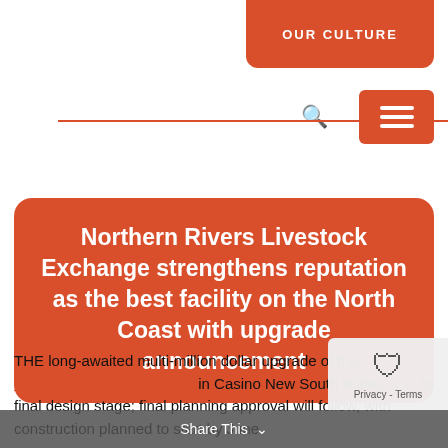OUR CULTURE
Northern Rivers Livestock Exchange strengthens reputation as the best facility on the North Coast with upgrade announcement
THE long-awaited multi-million dollar upgrade of the Northern Rivers Livestock Exchange in Casino New South Wales is in its final design stage; final planning approval will follow, with construction planned to start by June.
Share This